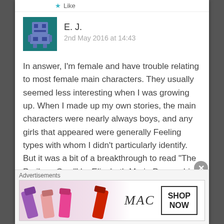Like
[Figure (illustration): Pixel-art avatar with teal/blue robot character on dark teal background]
E. J.
2nd May 2016 at 14:43
In answer, I'm female and have trouble relating to most female main characters. They usually seemed less interesting when I was growing up. When I made up my own stories, the main characters were nearly always boys, and any girls that appeared were generally Feeling types with whom I didn't particularly identify. But it was a bit of a breakthrough to read “The Perilous Gard” by Elizabeth Marie Pope, which has a very realistic female INTJ as its main character. Kate seemed strong in a
Advertisements
[Figure (photo): MAC cosmetics advertisement banner showing colorful lipsticks with MAC logo and SHOP NOW button]